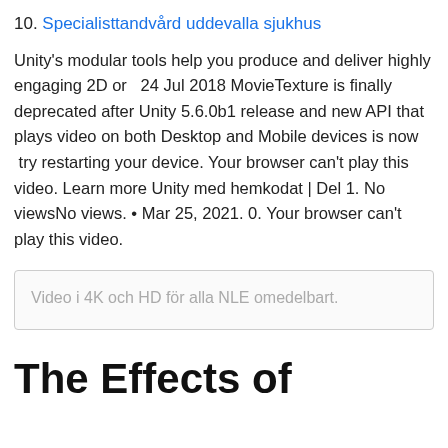10. Specialisttandvård uddevalla sjukhus
Unity's modular tools help you produce and deliver highly engaging 2D or   24 Jul 2018 MovieTexture is finally deprecated after Unity 5.6.0b1 release and new API that plays video on both Desktop and Mobile devices is now  try restarting your device. Your browser can't play this video. Learn more Unity med hemkodat | Del 1. No viewsNo views. • Mar 25, 2021. 0. Your browser can't play this video.
Video i 4K och HD för alla NLE omedelbart.
The Effects of